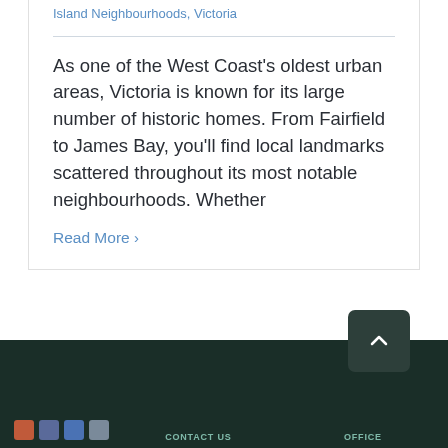Island Neighbourhoods, Victoria
As one of the West Coast's oldest urban areas, Victoria is known for its large number of historic homes. From Fairfield to James Bay, you'll find local landmarks scattered throughout its most notable neighbourhoods. Whether
Read More >
CONTACT US   OFFICE